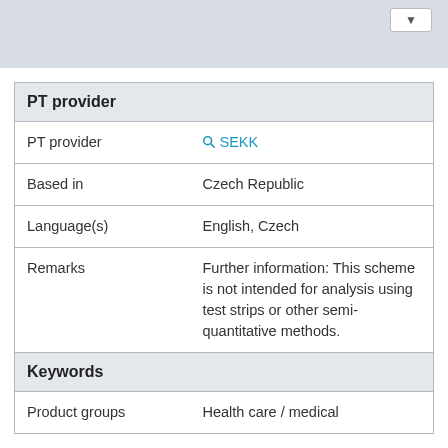[Figure (screenshot): Gray header bar with a white button in the top right corner]
| PT provider |
| --- |
| PT provider | SEKK |
| Based in | Czech Republic |
| Language(s) | English, Czech |
| Remarks | Further information: This scheme is not intended for analysis using test strips or other semi-quantitative methods. |
| Keywords |  |
| Product groups | Health care / medical |